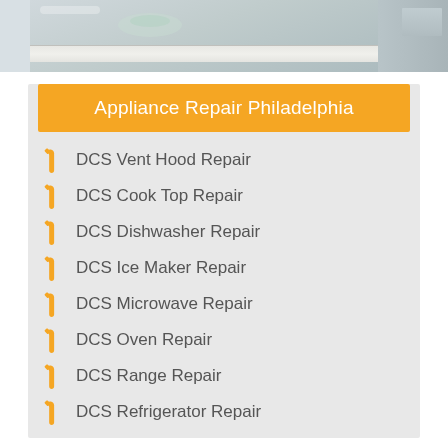[Figure (photo): Kitchen counter top and appliances photo]
Appliance Repair Philadelphia
DCS Vent Hood Repair
DCS Cook Top Repair
DCS Dishwasher Repair
DCS Ice Maker Repair
DCS Microwave Repair
DCS Oven Repair
DCS Range Repair
DCS Refrigerator Repair